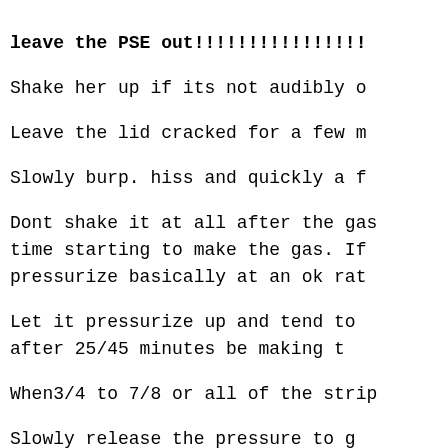leave the PSE out!!!!!!!!!!!!!!!!
Shake her up if its not audibly o…
Leave the lid cracked for a few m…
Slowly burp. hiss and quickly a f…
Dont shake it at all after the gas… time starting to make the gas. If … pressurize basically at an ok rat…
Let it pressurize up and tend to… after 25/45 minutes be making t…
When3/4 to 7/8 or all of the strip…
Slowly release the pressure to g…
Slowly sprinkle the fine ground…